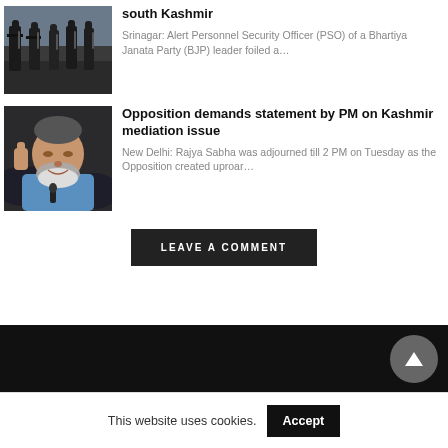south Kashmir
Srinagar: Alert Personnel Security Officer (PSO) of a Bhartiya Janata Party (BJP) leader foiled a…
[Figure (photo): Soldiers in military gear]
Opposition demands statement by PM on Kashmir mediation issue
New Delhi: Rajya Sabha was adjourned till 2 PM on Tuesday as the Opposition created uproar…
[Figure (photo): Man in blue vest giving thumbs up]
LEAVE A COMMENT
This website uses cookies. Accept